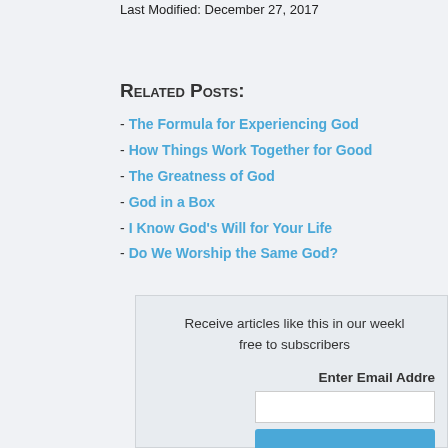Last Modified: December 27, 2017
Related Posts:
- The Formula for Experiencing God
- How Things Work Together for Good
- The Greatness of God
- God in a Box
- I Know God's Will for Your Life
- Do We Worship the Same God?
Receive articles like this in our weekly email, free to subscribers.
Enter Email Address